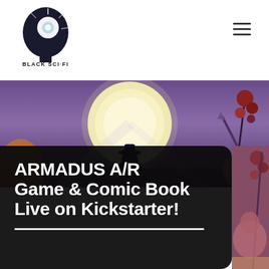[Figure (logo): Black Sci-Fi logo: stylized head silhouette with bright light/lens flare forming a B shape, text BLACK SCI-FI below]
[Figure (illustration): Comic book style hero banner image showing a silhouetted figure with a hat under a large glowing yellow moon, with a weapon/staff visible at right, purple atmospheric tones]
ARMADUS A/R Game & Comic Book Live on Kickstarter!